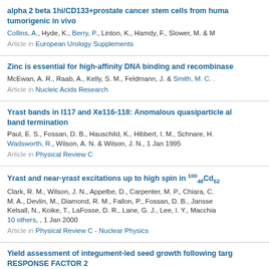alpha 2 beta 1hi/CD133+prostate cancer stem cells from human tumorigenic in vivo
Collins, A., Hyde, K., Berry, P., Linton, K., Hamdy, F., Slower, M. & M...
Article in European Urology Supplements
Zinc is essential for high-affinity DNA binding and recombinase...
McEwan, A. R., Raab, A., Kelly, S. M., Feldmann, J. & Smith, M. C. ...
Article in Nucleic Acids Research
Yrast bands in I117 and Xe116-118: Anomalous quasiparticle al... band termination
Paul, E. S., Fossan, D. B., Hauschild, K., Hibbert, I. M., Schnare, H., Wadsworth, R., Wilson, A. N. & Wilson, J. N., 1 Jan 1995
Article in Physical Review C
Yrast and near-yrast excitations up to high spin in 100/48Cd52
Clark, R. M., Wilson, J. N., Appelbe, D., Carpenter, M. P., Chiara, C., M. A., Devlin, M., Diamond, R. M., Fallon, P., Fossan, D. B., Janssen... Kelsall, N., Koike, T., LaFosse, D. R., Lane, G. J., Lee, I. Y., Macchia... 10 others, , 1 Jan 2000
Article in Physical Review C - Nuclear Physics
Yield assessment of integument-led seed growth following targ... RESPONSE FACTOR 2
Hughes, R., Spielman, M., Schruff, M. C., Larson, T. R., Graham, I. A...
Article in Plant biotechnology journal